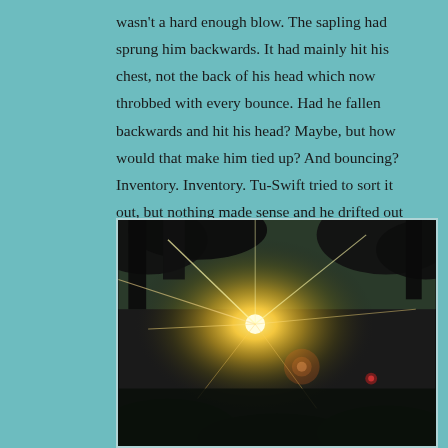wasn't a hard enough blow. The sapling had sprung him backwards. It had mainly hit his chest, not the back of his head which now throbbed with every bounce. Had he fallen backwards and hit his head? Maybe, but how would that make him tied up? And bouncing? Inventory. Inventory. Tu-Swift tried to sort it out, but nothing made sense and he drifted out of consciousness again.
[Figure (photo): A dark nature photograph showing sunlight bursting through tree canopy with bright sun rays and lens flare, trees silhouetted in foreground and background, warm golden light at center]